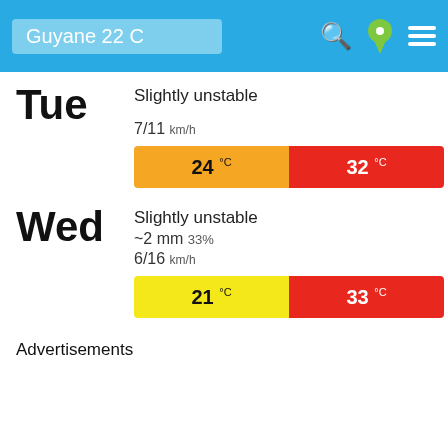Guyane 22 C
Tue
Slightly unstable
7/11 km/h
[Figure (infographic): Temperature bar showing 24°C (orange background) and 32°C (red background)]
Wed
Slightly unstable
~2 mm 33%
6/16 km/h
[Figure (infographic): Temperature bar showing 21°C (yellow background) and 33°C (red background)]
Advertisements